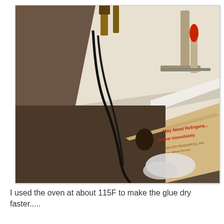[Figure (photo): Workshop scene showing a wooden board clamped with a large red-handled C-clamp on a white workbench surface. Below the workbench is a cardboard box with red text reading 'May Need Refrigera...' and 'Deliver Immediately' and 'CENTURY RESOURCES INC.' along with a crumpled white cloth/tissue. A black power cord and various tools including hammers are also visible.]
I used the oven at about 115F to make the glue dry faster.....